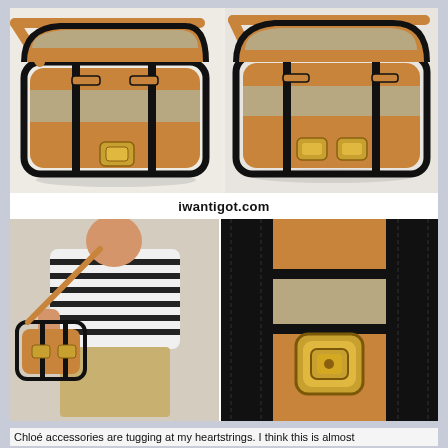[Figure (photo): Collage of four images showing a Chloé handbag: top-left shows the full bag at an angle with tan leather, black trim, canvas panel, and gold hardware; top-right shows a front view of the same bag; bottom-left shows a woman in a striped shirt wearing the bag as a crossbody; bottom-right shows a close-up of the gold turnlock clasp and black trim detail.]
iwantigot.com
Chloé accessories are tugging at my heartstrings. I think this is almost